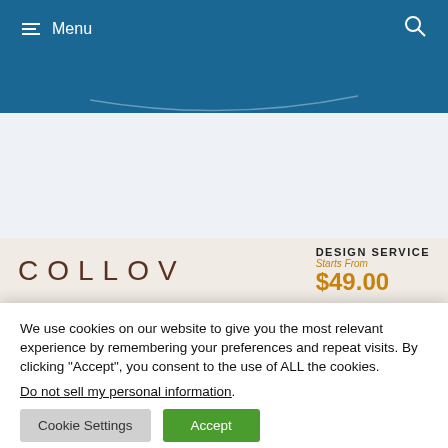Menu
[Figure (screenshot): Website screenshot showing navigation bar with Menu and search icon on blue background, white content area below, and COLLOV logo banner with DESIGN SERVICE pricing]
We use cookies on our website to give you the most relevant experience by remembering your preferences and repeat visits. By clicking “Accept”, you consent to the use of ALL the cookies.
Do not sell my personal information.
Cookie Settings
Accept